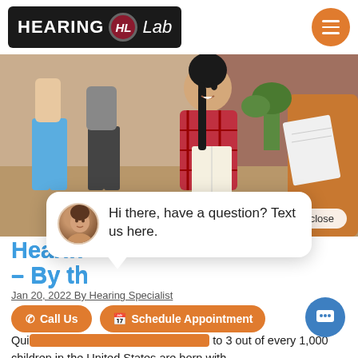HEARING HL Lab
[Figure (photo): Group of people in an office setting; a woman in a red plaid shirt holds a notebook and smiles, others stand around her, brick wall in background]
close
Hi there, have a question? Text us here.
Hearing [Loss Statistics] – By th[e Numbers]
Jan 20, 2022 By Hearing Specialist
Call Us
Schedule Appointment
Quick Statistics About Hearing About 2 to 3 out of every 1,000 children in the United States are born with